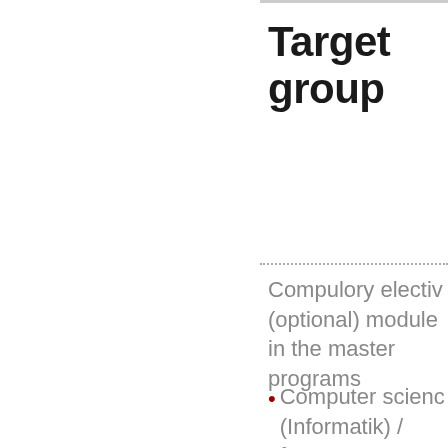Target group
Compulory elective (optional) module in the master programs
Computer science (Informatik) / focus communication-based systems